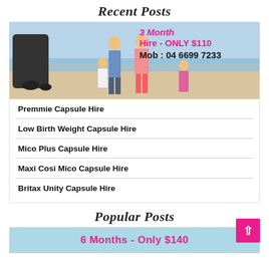Recent Posts
[Figure (photo): Family at beach with baby capsule/car seat, with overlaid text: '3 Month Hire - ONLY $110' in pink and 'Mob : 04 6699 7233' in black bold]
Premmie Capsule Hire
Low Birth Weight Capsule Hire
Mico Plus Capsule Hire
Maxi Cosi Mico Capsule Hire
Britax Unity Capsule Hire
Popular Posts
[Figure (infographic): Light blue banner with text '6 Months - Only $140' in pink bold]